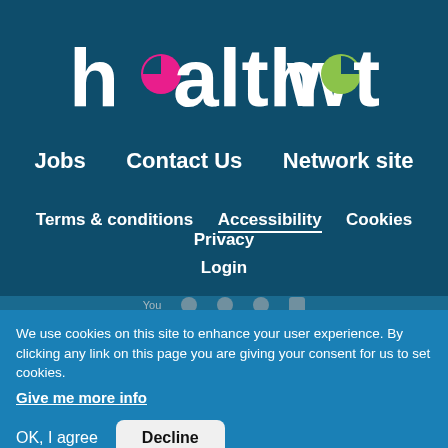[Figure (logo): Healthwatch logo in white text on dark teal background with pink circle replacing 'e' letter dot and green circle replacing 'o' letter in 'watch']
Jobs   Contact Us   Network site
Terms & conditions   Accessibility   Cookies   Privacy
Login
We use cookies on this site to enhance your user experience. By clicking any link on this page you are giving your consent for us to set cookies.
Give me more info
OK, I agree   Decline